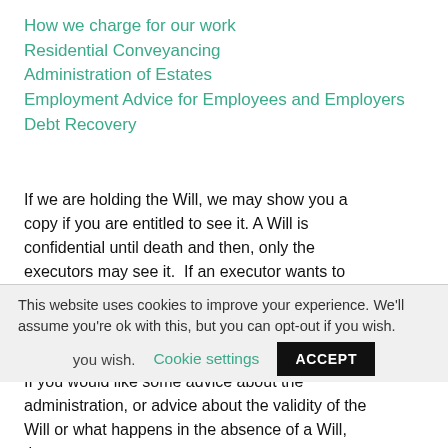How we charge for our work
Residential Conveyancing
Administration of Estates
Employment Advice for Employees and Employers
Debt Recovery
If we are holding the Will, we may show you a copy if you are entitled to see it. A Will is confidential until death and then, only the executors may see it.  If an executor wants to collect the original Will from us, we shall need the death certificate and the consent of all executors before we can release it.
If you would like some advice about the administration, or advice about the validity of the Will or what happens in the absence of a Will, then we
This website uses cookies to improve your experience. We'll assume you're ok with this, but you can opt-out if you wish.
Cookie settings
ACCEPT